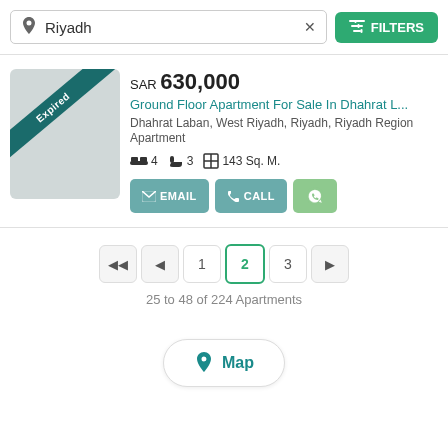Riyadh × FILTERS
SAR 630,000
Ground Floor Apartment For Sale In Dhahrat L...
Dhahrat Laban, West Riyadh, Riyadh, Riyadh Region
Apartment
4 bedrooms  3 bathrooms  143 Sq. M.
EMAIL  CALL  WhatsApp
1  2  3  pagination controls
25 to 48 of 224 Apartments
Map